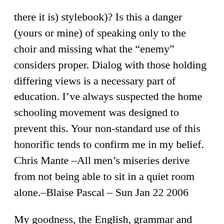there it is) stylebook)? Is this a danger (yours or mine) of speaking only to the choir and missing what the “enemy” considers proper. Dialog with those holding differing views is a necessary part of education. I’ve always suspected the home schooling movement was designed to prevent this. Your non-standard use of this honorific tends to confirm me in my belief. Chris Mante –All men’s miseries derive from not being able to sit in a quiet room alone.–Blaise Pascal – Sun Jan 22 2006
My goodness, the English, grammar and spelling in this page concern me greatly. Are you responsible for home-schooling your child? I see these values have been passed on it